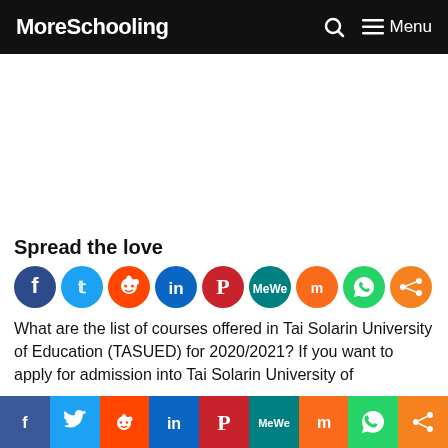MoreSchooling  🔍  ☰ Menu
[Figure (other): Advertisement/banner placeholder area (white space)]
Spread the love
[Figure (infographic): Social sharing icon buttons: Facebook, Twitter, Reddit, LinkedIn, Pinterest, MeWe, Mix, WhatsApp, Share]
What are the list of courses offered in Tai Solarin University of Education (TASUED) for 2020/2021? If you want to apply for admission into Tai Solarin University of
[Figure (infographic): Bottom social sharing bar with icons: Facebook, Twitter, Reddit, LinkedIn, Pinterest, MeWe, Mix, WhatsApp, Share]